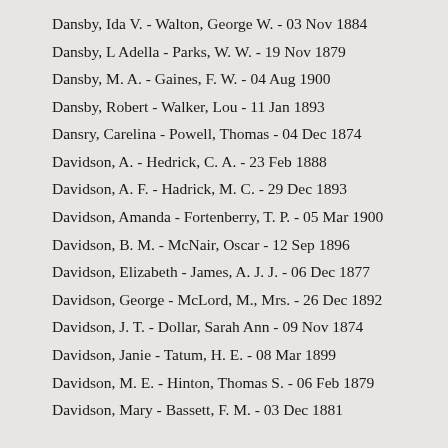Dansby, Ida V. - Walton, George W. - 03 Nov 1884
Dansby, L Adella - Parks, W. W. - 19 Nov 1879
Dansby, M. A. - Gaines, F. W. - 04 Aug 1900
Dansby, Robert - Walker, Lou - 11 Jan 1893
Dansry, Carelina - Powell, Thomas - 04 Dec 1874
Davidson, A. - Hedrick, C. A. - 23 Feb 1888
Davidson, A. F. - Hadrick, M. C. - 29 Dec 1893
Davidson, Amanda - Fortenberry, T. P. - 05 Mar 1900
Davidson, B. M. - McNair, Oscar - 12 Sep 1896
Davidson, Elizabeth - James, A. J. J. - 06 Dec 1877
Davidson, George - McLord, M., Mrs. - 26 Dec 1892
Davidson, J. T. - Dollar, Sarah Ann - 09 Nov 1874
Davidson, Janie - Tatum, H. E. - 08 Mar 1899
Davidson, M. E. - Hinton, Thomas S. - 06 Feb 1879
Davidson, Mary - Bassett, F. M. - 03 Dec 1881